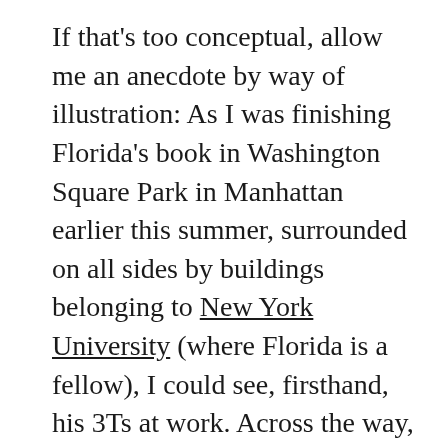If that's too conceptual, allow me an anecdote by way of illustration: As I was finishing Florida's book in Washington Square Park in Manhattan earlier this summer, surrounded on all sides by buildings belonging to New York University (where Florida is a fellow), I could see, firsthand, his 3Ts at work. Across the way, diverse crowds of college students walked to their next class or appointment while sending photos to friends on the latest app; on the corner, a well-heeled couple waited impatiently for their Uber driver; and, a group of foreign tourists were listening to their guide about the history of the square. To the "place-activist" it was a perfect...